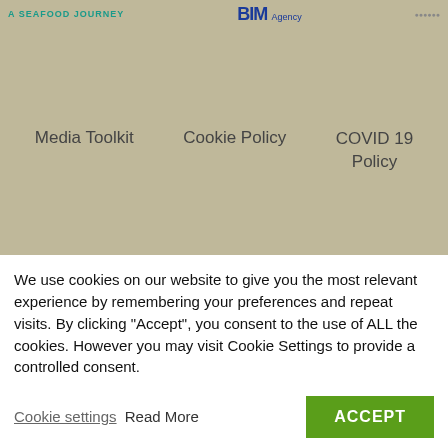A SEAFOOD JOURNEY | BIM Agency
Media Toolkit
Cookie Policy
COVID 19 Policy
FAQ
[Figure (logo): Sligo logo in red italic font]
[Figure (logo): AT+M Purple Flag logo with purple heart icon]
We use cookies on our website to give you the most relevant experience by remembering your preferences and repeat visits. By clicking “Accept”, you consent to the use of ALL the cookies. However you may visit Cookie Settings to provide a controlled consent.
Cookie settings Read More
ACCEPT